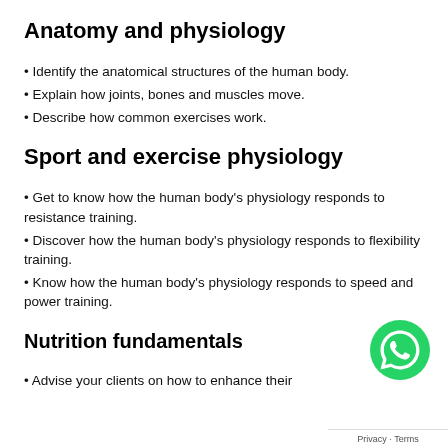Anatomy and physiology
Identify the anatomical structures of the human body.
Explain how joints, bones and muscles move.
Describe how common exercises work.
Sport and exercise physiology
Get to know how the human body’s physiology responds to resistance training.
Discover how the human body’s physiology responds to flexibility training.
Know how the human body’s physiology responds to speed and power training.
Nutrition fundamentals
Advise your clients on how to enhance their